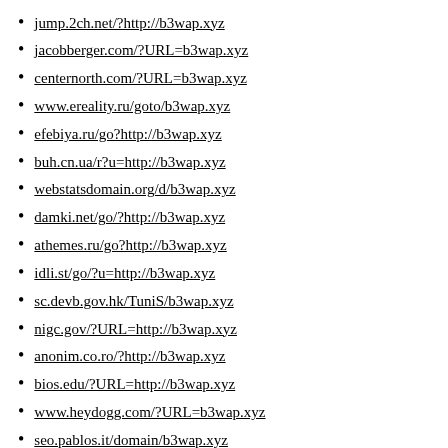jump.2ch.net/?http://b3wap.xyz
jacobberger.com/?URL=b3wap.xyz
centernorth.com/?URL=b3wap.xyz
www.ereality.ru/goto/b3wap.xyz
efebiya.ru/go?http://b3wap.xyz
buh.cn.ua/r?u=http://b3wap.xyz
webstatsdomain.org/d/b3wap.xyz
damki.net/go/?http://b3wap.xyz
athemes.ru/go?http://b3wap.xyz
idli.st/go/?u=http://b3wap.xyz
sc.devb.gov.hk/TuniS/b3wap.xyz
nigc.gov/?URL=http://b3wap.xyz
anonim.co.ro/?http://b3wap.xyz
bios.edu/?URL=http://b3wap.xyz
www.heydogg.com/?URL=b3wap.xyz
seo.pablos.it/domain/b3wap.xyz
sc.hkexnews.hk/TuniS/b3wap.xyz
sc.hkex.com.hk/TuniS/b3wap.xyz
www.phpooey.com/?URL=b3wap.xyz